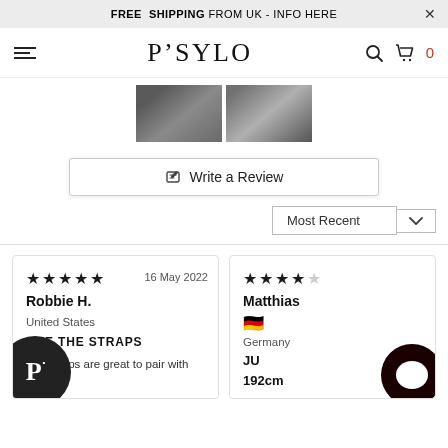FREE SHIPPING FROM UK - INFO HERE
[Figure (logo): PSYLO brand logo with hamburger menu, search icon, and cart icon showing 0 items]
[Figure (photo): Two product photos showing clothing with straps]
✎ Write a Review
Most Recent
★★★★★  16 May 2022
Robbie H.
United States
LOVE THE STRAPS
The straps are great to pair with
★★★★
Matthias
🇩🇪
Germany
JU
192cm